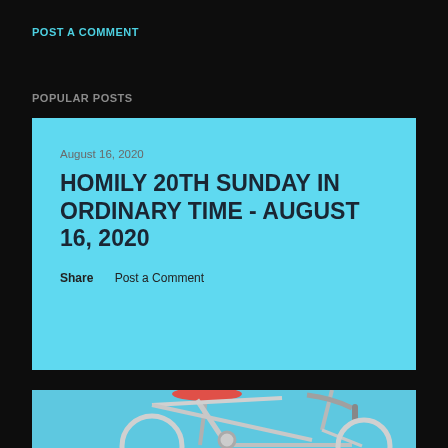POST A COMMENT
POPULAR POSTS
August 16, 2020
HOMILY 20TH SUNDAY IN ORDINARY TIME - AUGUST 16, 2020
Share    Post a Comment
[Figure (photo): A white road bicycle with red saddle, shot against a white background, partially visible at the bottom of the page]